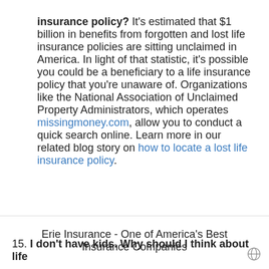insurance policy? It's estimated that $1 billion in benefits from forgotten and lost life insurance policies are sitting unclaimed in America. In light of that statistic, it's possible you could be a beneficiary to a life insurance policy that you're unaware of. Organizations like the National Association of Unclaimed Property Administrators, which operates missingmoney.com, allow you to conduct a quick search online. Learn more in our related blog story on how to locate a lost life insurance policy.
15. I don't have kids. Why should I think about life
Erie Insurance - One of America's Best Insurance Companies